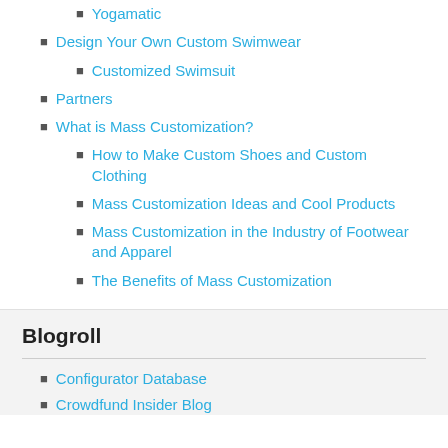Yogamatic
Design Your Own Custom Swimwear
Customized Swimsuit
Partners
What is Mass Customization?
How to Make Custom Shoes and Custom Clothing
Mass Customization Ideas and Cool Products
Mass Customization in the Industry of Footwear and Apparel
The Benefits of Mass Customization
Blogroll
Configurator Database
Crowdfund Insider Blog